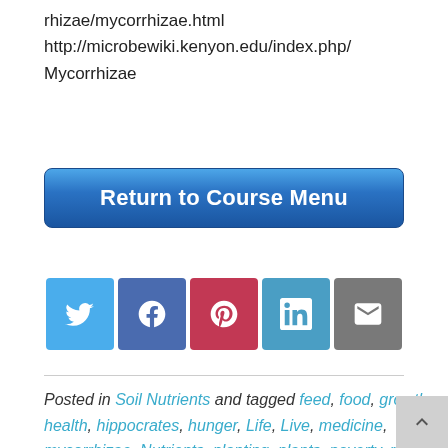rhizae/mycorrhizae.html http://microbewiki.kenyon.edu/index.php/ Mycorrhizae
[Figure (other): Blue gradient button labeled 'Return to Course Menu']
[Figure (other): Social sharing buttons: Twitter (blue), Facebook (dark blue), Pinterest (red), LinkedIn (light blue), Email (gray)]
Posted in Soil Nutrients and tagged feed, food, growth, health, hippocrates, hunger, Life, Live, medicine, mycorrhizae, Nutrients, planting, plants, poverty, root, starvation, sustainable farming